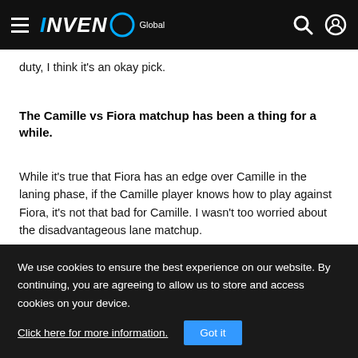INVEN Global
duty, I think it's an okay pick.
The Camille vs Fiora matchup has been a thing for a while.
While it's true that Fiora has an edge over Camille in the laning phase, if the Camille player knows how to play against Fiora, it's not that bad for Camille. I wasn't too worried about the disadvantageous lane matchup.
We use cookies to ensure the best experience on our website. By continuing, you are agreeing to allow us to store and access cookies on your device. Click here for more information.